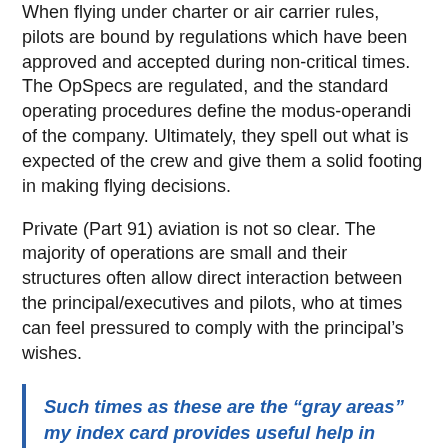When flying under charter or air carrier rules, pilots are bound by regulations which have been approved and accepted during non-critical times. The OpSpecs are regulated, and the standard operating procedures define the modus-operandi of the company. Ultimately, they spell out what is expected of the crew and give them a solid footing in making flying decisions.
Private (Part 91) aviation is not so clear. The majority of operations are small and their structures often allow direct interaction between the principal/executives and pilots, who at times can feel pressured to comply with the principal's wishes.
Such times as these are the “gray areas” my index card provides useful help in addressing. Let’s look at an example…
Years ago after a major hurricane struck, I was scheduled to fly to a Caribbean location to take some passengers to their yacht. Most of the